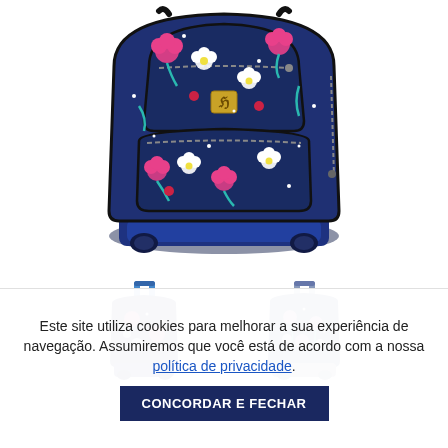[Figure (photo): Front view of a navy blue rolling backpack/trolley with floral pattern featuring pink carnations, white flowers, teal stems, and sparkles. The backpack has a gold/bronze logo clasp in the center, multiple zippered compartments, and a hard blue plastic rolling base with wheels.]
[Figure (photo): Thumbnail showing back/top view of the same navy blue floral rolling backpack with the telescoping handle extended upward.]
[Figure (photo): Thumbnail showing a side/front view of the floral rolling backpack trolley with handle up, lighter/grayer appearance.]
Este site utiliza cookies para melhorar a sua experiência de navegação. Assumiremos que você está de acordo com a nossa política de privacidade. CONCORDAR E FECHAR